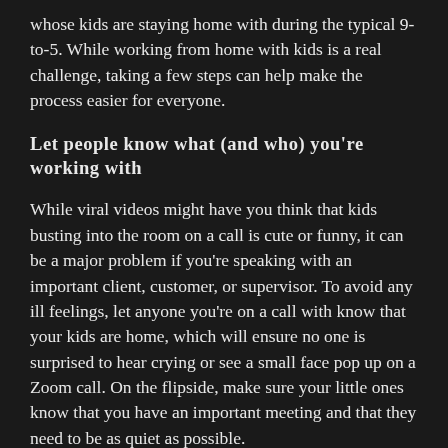whose kids are staying home with during the typical 9-to-5. While working from home with kids is a real challenge, taking a few steps can help make the process easier for everyone.
Let people know what (and who) you're working with
While viral videos might have you think that kids busting into the room on a call is cute or funny, it can be a major problem if you're speaking with an important client, customer, or supervisor. To avoid any ill feelings, let anyone you're on a call with know that your kids are home, which will ensure no one is surprised to hear crying or see a small face pop up on a Zoom call. On the flipside, make sure your little ones know that you have an important meeting and that they need to be as quiet as possible.
E